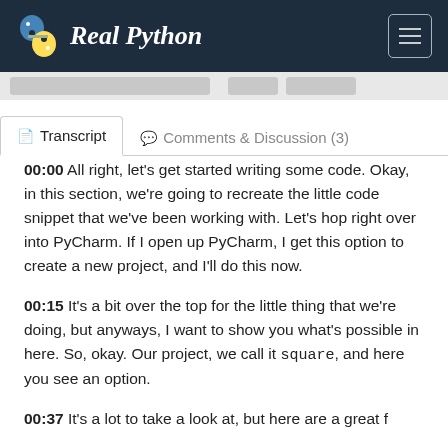Real Python
Transcript | Comments & Discussion (3)
00:00 All right, let's get started writing some code. Okay, in this section, we're going to recreate the little code snippet that we've been working with. Let's hop right over into PyCharm. If I open up PyCharm, I get this option to create a new project, and I'll do this now.
00:15 It's a bit over the top for the little thing that we're doing, but anyways, I want to show you what's possible in here. So, okay. Our project, we call it square, and here you see an option.
00:37 ...